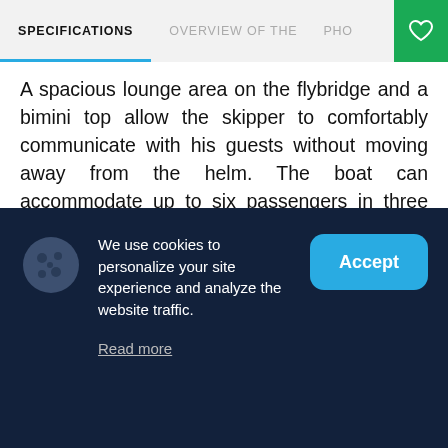SPECIFICATIONS   OVERVIEW OF THE   PHO
A spacious lounge area on the flybridge and a bimini top allow the skipper to comfortably communicate with his guests without moving away from the helm. The boat can accommodate up to six passengers in three cabins. There is also one berth for the crew. There are two bathrooms on board, one of which is in the master cabin.
Features
We use cookies to personalize your site experience and analyze the website traffic.
Read more